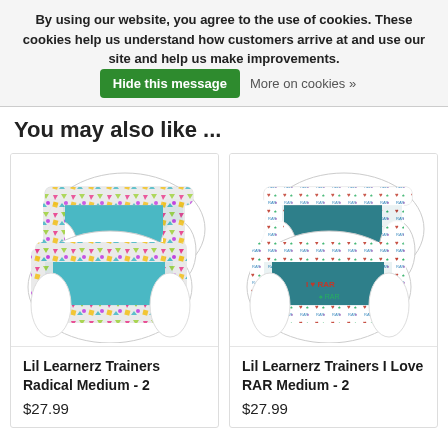By using our website, you agree to the use of cookies. These cookies help us understand how customers arrive at and use our site and help us make improvements. Hide this message  More on cookies »
You may also like ...
[Figure (photo): Two Lil Learnerz Trainers in Radical pattern (colorful geometric shapes on white with teal panels)]
Lil Learnerz Trainers Radical Medium - 2
$27.99
[Figure (photo): Two Lil Learnerz Trainers in I Love RAR pattern (white with heart/RAR text pattern and teal panels)]
Lil Learnerz Trainers I Love RAR Medium - 2
$27.99